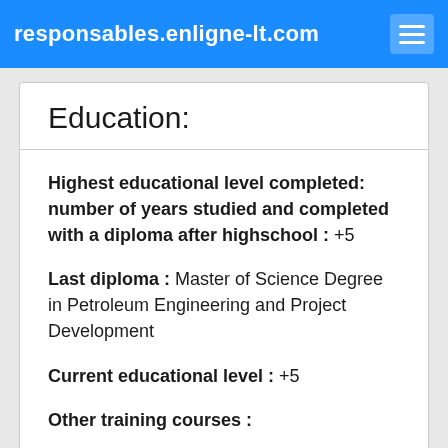responsables.enligne-lt.com
Education:
Highest educational level completed: number of years studied and completed with a diploma after highschool : +5
Last diploma : Master of Science Degree in Petroleum Engineering and Project Development
Current educational level : +5
Other training courses :